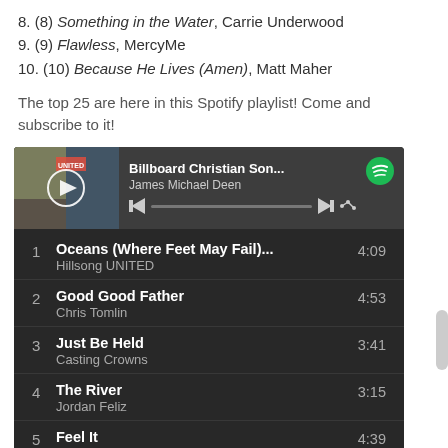8. (8) Something in the Water, Carrie Underwood
9. (9) Flawless, MercyMe
10. (10) Because He Lives (Amen), Matt Maher
The top 25 are here in this Spotify playlist! Come and subscribe to it!
[Figure (screenshot): Spotify playlist widget showing 'Billboard Christian Son...' by James Michael Deen with track listing: 1. Oceans (Where Feet May Fail)... - Hillsong UNITED 4:09, 2. Good Good Father - Chris Tomlin 4:53, 3. Just Be Held - Casting Crowns 3:41, 4. The River - Jordan Feliz 3:15, 5. Feel It (partial)]